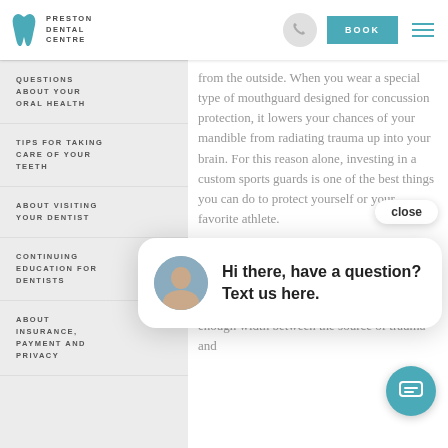PRESTON DENTAL CENTRE
QUESTIONS ABOUT YOUR ORAL HEALTH
TIPS FOR TAKING CARE OF YOUR TEETH
ABOUT VISITING YOUR DENTIST
CONTINUING EDUCATION FOR DENTISTS
ABOUT INSURANCE, PAYMENT AND PRIVACY
from the outside. When you wear a special type of mouthguard designed for concussion protection, it lowers your chances of your mandible from radiating trauma up into your brain. For this reason alone, investing in a custom sports guards is one of the best things you can do to protect yourself or your favorite athlete.
Hi there, have a question? Text us here.
knocked-out teeth?
Mouthguards also protect teeth from getting knocked out or broken during a blow to the mouth. The thick distributes the pressure and has enough width between the source of trauma and